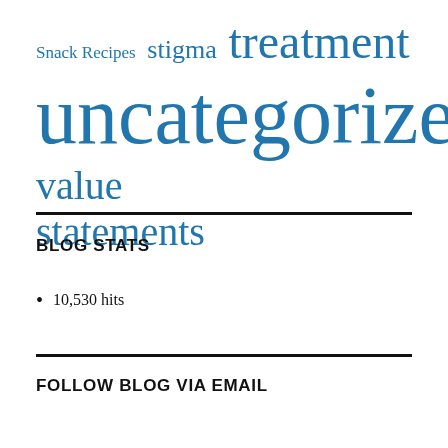Snack Recipes  stigma  treatment  uncategorized  value statements
BLOG STATS
10,530 hits
FOLLOW BLOG VIA EMAIL